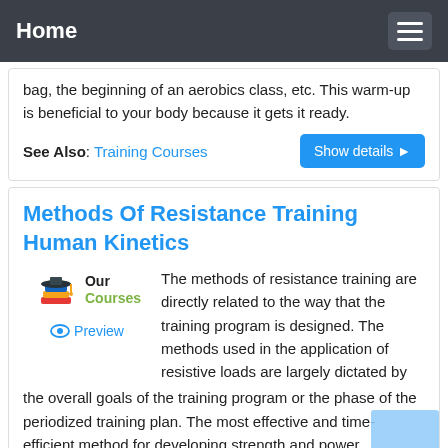Home
bag, the beginning of an aerobics class, etc. This warm-up is beneficial to your body because it gets it ready.
See Also: Training Courses
Methods Of Resistance Training Human Kinetics
[Figure (logo): Our Courses badge with graduation cap and books icon]
Preview
The methods of resistance training are directly related to the way that the training program is designed. The methods used in the application of resistive loads are largely dictated by the overall goals of the training program or the phase of the periodized training plan. The most effective and time-efficient method for developing strength and power